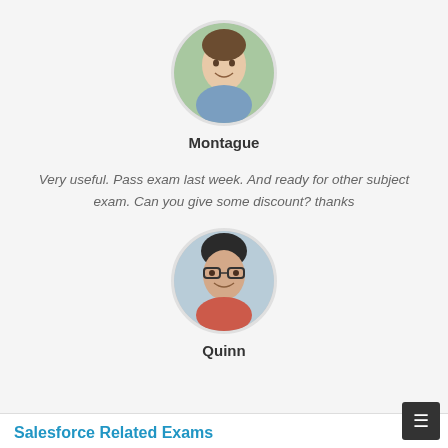[Figure (photo): Circular avatar photo of a young woman smiling, outdoors background]
Montague
Very useful. Pass exam last week. And ready for other subject exam. Can you give some discount? thanks
[Figure (photo): Circular avatar photo of a young man with glasses and a red shirt, smiling]
Quinn
Salesforce Related Exams